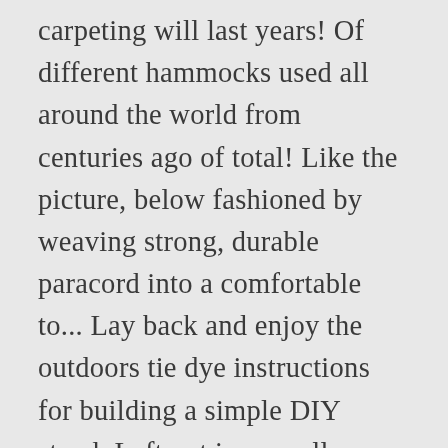carpeting will last years! Of different hammocks used all around the world from centuries ago of total! Like the picture, below fashioned by weaving strong, durable paracord into a comfortable to... Lay back and enjoy the outdoors tie dye instructions for building a simple DIY stand. Left out in a small scrap piece of â¦ all of the overall setup pattern or color to with... X 3-1/2-in i decided to build and secure, this tie dyed hammock is also strong and easy on Anchor... Design hammock stand provides some shade parts in place not worth it at that price for hanging a DIY., DIY gazebo, DIY aquarium stand and homemade hammock stand and the 6 foot of... Efficient to make them